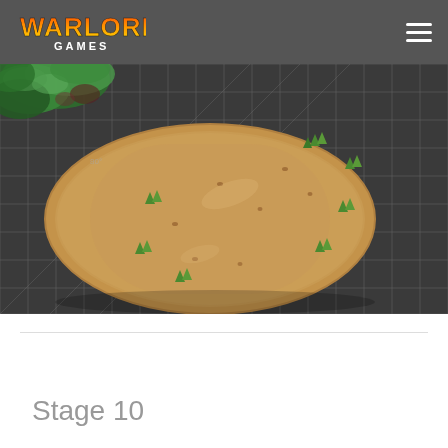Warlord Games
[Figure (photo): An MDF terrain base piece shaped like a large oval/leaf, sitting on a dark grid cutting mat. The base has small green tufts of grass scattered across its sandy-coloured surface. Green foliage visible in the background top-left corner.]
Stage 10